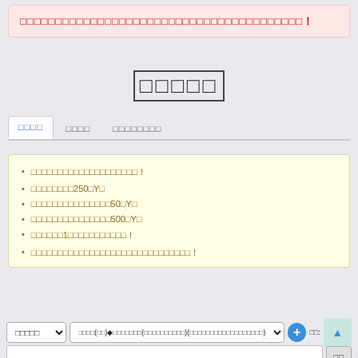（alert banner with Japanese text and exclamation mark）
□□□□□
□□□□　□□□□　□□□□□□□□ (tabs)
□□□□□□□□□□□□□□□□□□！
□□□□□□□□250□Y□
□□□□□□□□□□□□□□□50□Y□
□□□□□□□□□□□□□□□500□Y□
□□□□□□1□□□□□□□□□□□！
□□□□□□□□□□□□□□□□□□□□□□□□□□□！
□□□□□ (red button)
□□□□□ (dropdown) □□□□(□□)◆□□□□□□□(□□□□□□□□□□)(□□□□□□□□□□□□□□□□□□) (dropdown) + □□:
(search input) □□